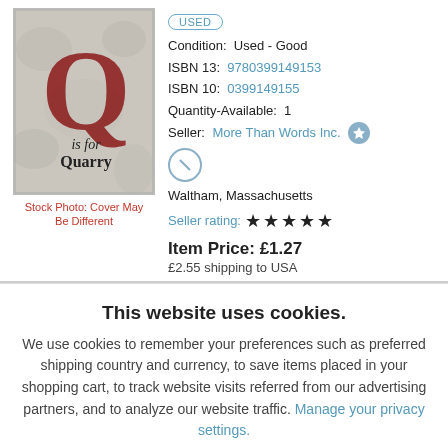[Figure (photo): Book cover image: Q is for Quarry, showing a large red letter Q on a stone/textured background with text 'is for Quarry' beneath]
Stock Photo: Cover May Be Different
USED
Condition: Used - Good
ISBN 13: 9780399149153
ISBN 10: 0399149155
Quantity-Available: 1
Seller: More Than Words Inc.
Waltham, Massachusetts
Seller rating: ★★★★★
Item Price: £1.27
£2.55 shipping to USA
This website uses cookies.
We use cookies to remember your preferences such as preferred shipping country and currency, to save items placed in your shopping cart, to track website visits referred from our advertising partners, and to analyze our website traffic. Manage your privacy settings.
AGREE AND CLOSE